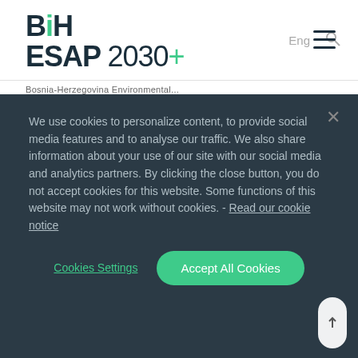Eng
[Figure (logo): BiH ESAP 2030+ logo with green accent marks]
Bosnia-Herzegovina Environmental...
We use cookies to personalize content, to provide social media features and to analyse our traffic. We also share information about your use of our site with our social media and analytics partners. By clicking the close button, you do not accept cookies for this website. Some functions of this website may not work without cookies. - Read our cookie notice
Cookies Settings
Accept All Cookies